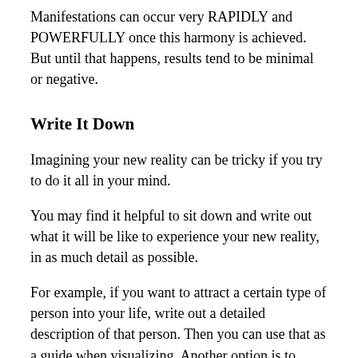Manifestations can occur very RAPIDLY and POWERFULLY once this harmony is achieved. But until that happens, results tend to be minimal or negative.
Write It Down
Imagining your new reality can be tricky if you try to do it all in your mind.
You may find it helpful to sit down and write out what it will be like to experience your new reality, in as much detail as possible.
For example, if you want to attract a certain type of person into your life, write out a detailed description of that person. Then you can use that as a guide when visualizing. Another option is to create a vision board by assembling a collection of photos or images (physical or digital) that